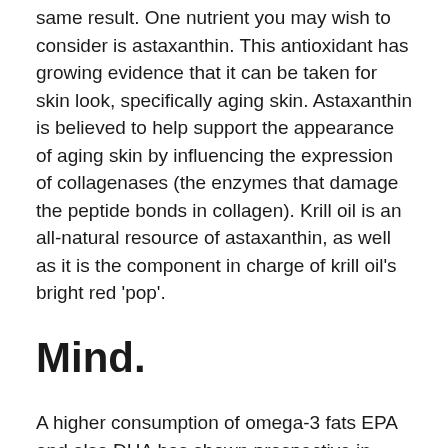same result. One nutrient you may wish to consider is astaxanthin. This antioxidant has growing evidence that it can be taken for skin look, specifically aging skin. Astaxanthin is believed to help support the appearance of aging skin by influencing the expression of collagenases (the enzymes that damage the peptide bonds in collagen). Krill oil is an all-natural resource of astaxanthin, as well as it is the component in charge of krill oil's bright red 'pop'.
Mind.
A higher consumption of omega-3 fats EPA and also DHA has shown prospective in supporting cognitive feature, especially for people with mild cognitive disability.